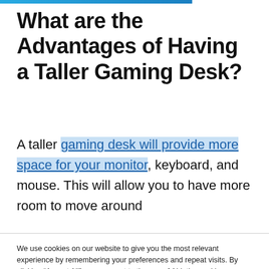What are the Advantages of Having a Taller Gaming Desk?
A taller gaming desk will provide more space for your monitor, keyboard, and mouse. This will allow you to have more room to move around
We use cookies on our website to give you the most relevant experience by remembering your preferences and repeat visits. By clicking “Accept All”, you consent to the use of ALL the cookies. However, you may visit "Cookie Settings" to provide a controlled consent.